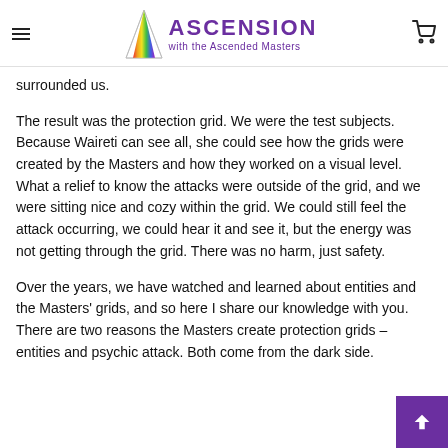ASCENSION with the Ascended Masters
surrounded us.
The result was the protection grid. We were the test subjects. Because Waireti can see all, she could see how the grids were created by the Masters and how they worked on a visual level. What a relief to know the attacks were outside of the grid, and we were sitting nice and cozy within the grid. We could still feel the attack occurring, we could hear it and see it, but the energy was not getting through the grid. There was no harm, just safety.
Over the years, we have watched and learned about entities and the Masters' grids, and so here I share our knowledge with you.
There are two reasons the Masters create protection grids – entities and psychic attack. Both come from the dark side.